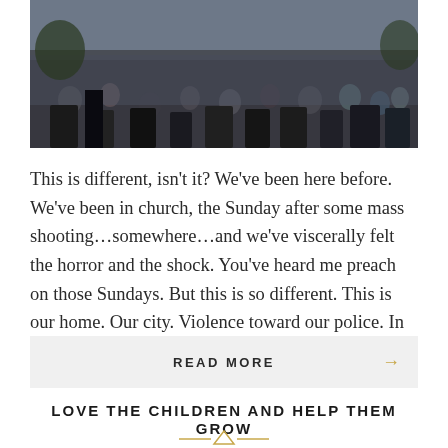[Figure (photo): Outdoor crowd scene with many people gathered, appears to be a public event or gathering, trees visible in background]
This is different, isn't it? We've been here before. We've been in church, the Sunday after some mass shooting…somewhere…and we've viscerally felt the horror and the shock. You've heard me preach on those Sundays. But this is so different. This is our home. Our city. Violence toward our police. In our downtown, where some of […]
READ MORE →
LOVE THE CHILDREN AND HELP THEM GROW